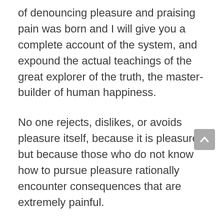of denouncing pleasure and praising pain was born and I will give you a complete account of the system, and expound the actual teachings of the great explorer of the truth, the master-builder of human happiness.
No one rejects, dislikes, or avoids pleasure itself, because it is pleasure, but because those who do not know how to pursue pleasure rationally encounter consequences that are extremely painful.
Nor again is there anyone who loves or pursues or desires to obtain pain of itself, because it is pain, but because occasionally circumstances occur in which toil and pain can procure him some great